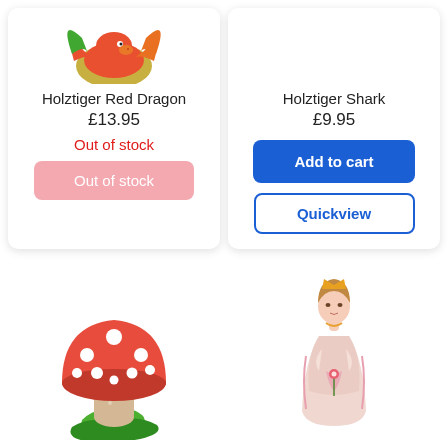[Figure (illustration): Holztiger Red Dragon wooden toy figure - partial view at top]
Holztiger Red Dragon
£13.95
Out of stock
Out of stock
Holztiger Shark
£9.95
Add to cart
Quickview
[Figure (illustration): Holztiger wooden mushroom toadstool toy figure - red cap with white spots, beige stem, green base]
[Figure (illustration): Holztiger wooden princess toy figure - woman in pink/white dress holding a flower, wearing a crown]